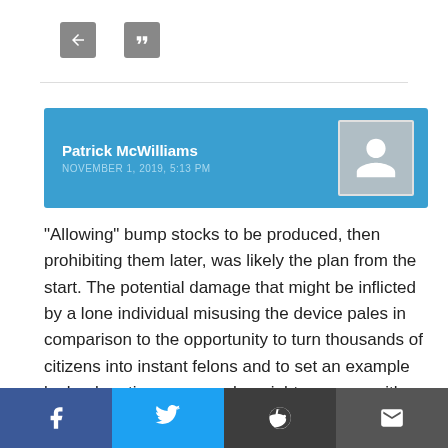[Figure (other): Navigation back and quote buttons (grey square icon buttons)]
[Figure (other): User comment card with name Patrick McWilliams, date NOVEMBER 1, 2019, 5:13 PM, and a placeholder avatar silhouette on a blue background]
“Allowing” bump stocks to be produced, then prohibiting them later, was likely the plan from the start. The potential damage that might be inflicted by a lone individual misusing the device pales in comparison to the opportunity to turn thousands of citizens into instant felons and to set an example by bankrupting anyone who might come up with an innovative fi...sory in the future.
[Figure (other): Social share bar with Facebook, Twitter, Reddit, and Email share buttons]